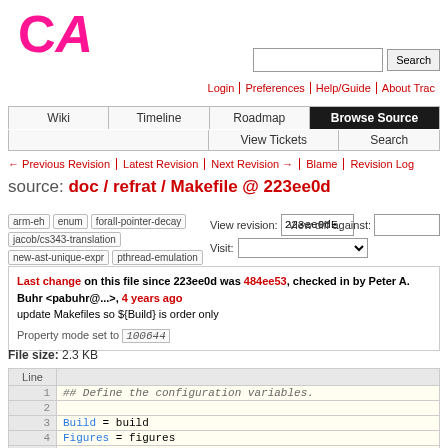[Figure (logo): CA logo in pink/magenta]
Login | Preferences | Help/Guide | About Trac
Wiki | Timeline | Roadmap | Browse Source | View Tickets | Search
← Previous Revision | Latest Revision | Next Revision → | Blame | Revision Log
source: doc / refrat / Makefile @ 223ee0d
arm-eh enum forall-pointer-decay jacob/cs343-translation new-ast-unique-expr pthread-emulation qualifiedEnum
View revision: 223ee0dE  View diff against:  Visit:
Last change on this file since 223ee0d was 484ee53, checked in by Peter A. Buhr <pabuhr@...>, 4 years ago
update Makefiles so ${Build} is order only
Property mode set to 100644
File size: 2.3 KB
| Line |  |
| --- | --- |
| 1 | ## Define the configuration variables. |
| 2 |  |
| 3 | Build = build |
| 4 | Figures = figures |
| 5 | Macros = ../LaTeXmacros |